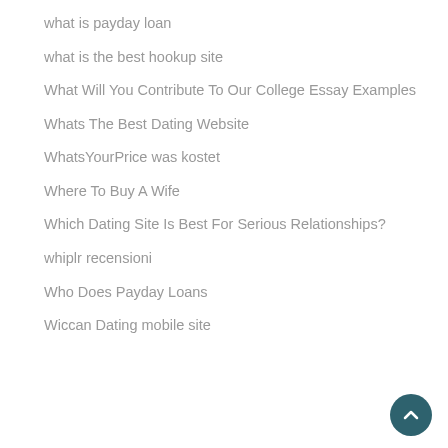what is payday loan
what is the best hookup site
What Will You Contribute To Our College Essay Examples
Whats The Best Dating Website
WhatsYourPrice was kostet
Where To Buy A Wife
Which Dating Site Is Best For Serious Relationships?
whiplr recensioni
Who Does Payday Loans
Wiccan Dating mobile site